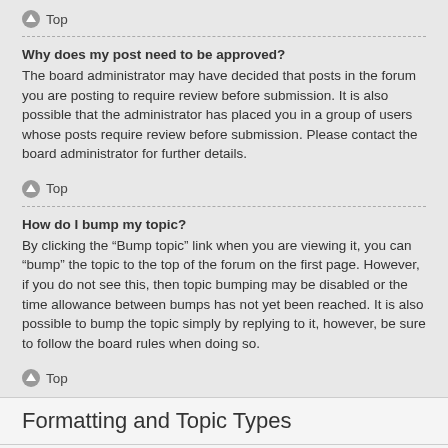Top
Why does my post need to be approved?
The board administrator may have decided that posts in the forum you are posting to require review before submission. It is also possible that the administrator has placed you in a group of users whose posts require review before submission. Please contact the board administrator for further details.
Top
How do I bump my topic?
By clicking the “Bump topic” link when you are viewing it, you can “bump” the topic to the top of the forum on the first page. However, if you do not see this, then topic bumping may be disabled or the time allowance between bumps has not yet been reached. It is also possible to bump the topic simply by replying to it, however, be sure to follow the board rules when doing so.
Top
Formatting and Topic Types
What is BBCode?
BBCode is a special implementation of HTML, offering great formatting control on particular objects in a post. The use of BBCode is granted by the administrator, but it can also be disabled on a per post basis from the posting form. BBCode itself is similar in style to HTML, but tags are enclosed in square